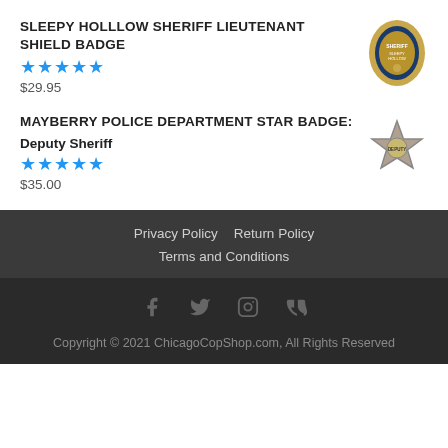SLEEPY HOLLLOW SHERIFF LIEUTENANT SHIELD BADGE
★★★★★ $29.95
MAYBERRY POLICE DEPARTMENT STAR BADGE: Deputy Sheriff
★★★★★ $35.00
Privacy Policy  Return Policy  Terms and Conditions
Copyright © 2021 ChicagoCopShop.com, All Rights Reserved